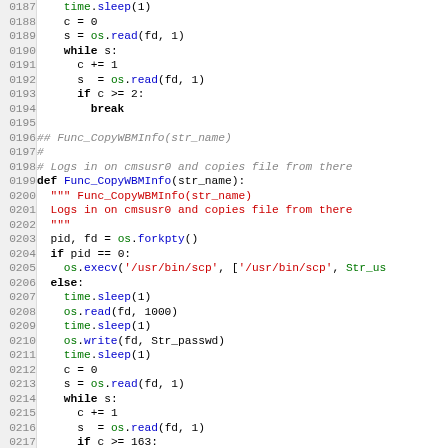Code listing lines 0187-0217, Python source code showing Func_CopyWBMInfo function definition and related code